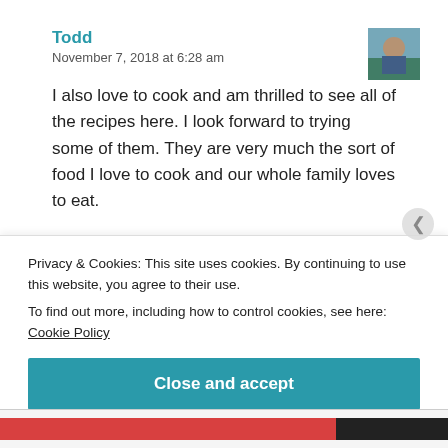Todd
November 7, 2018 at 6:28 am
[Figure (photo): Avatar photo of Todd, showing a man outdoors]
I also love to cook and am thrilled to see all of the recipes here. I look forward to trying some of them. They are very much the sort of food I love to cook and our whole family loves to eat.

Also, you are most welcome here in Canada. We immigrated here in 2004 and have been here ever
Privacy & Cookies: This site uses cookies. By continuing to use this website, you agree to their use.
To find out more, including how to control cookies, see here: Cookie Policy
Close and accept